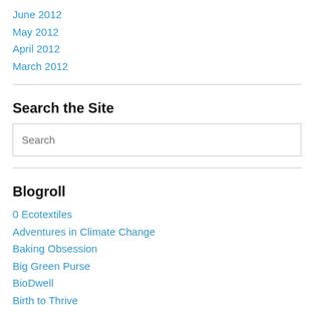June 2012
May 2012
April 2012
March 2012
Search the Site
Search
Blogroll
0 Ecotextiles
Adventures in Climate Change
Baking Obsession
Big Green Purse
BioDwell
Birth to Thrive